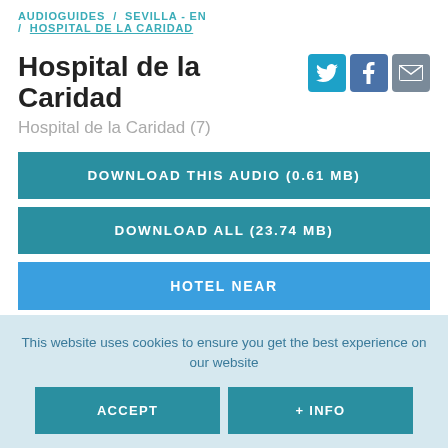AUDIOGUIDES / SEVILLA - EN / HOSPITAL DE LA CARIDAD
Hospital de la Caridad
Hospital de la Caridad (7)
DOWNLOAD THIS AUDIO (0.61 MB)
DOWNLOAD ALL (23.74 MB)
HOTEL NEAR
This website uses cookies to ensure you get the best experience on our website
ACCEPT
+ INFO